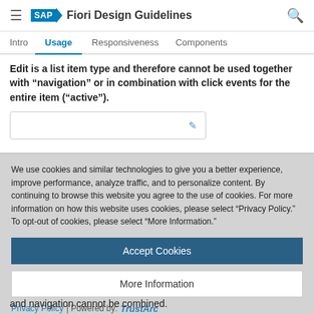SAP Fiori Design Guidelines
Intro | Usage | Responsiveness | Components
Edit is a list item type and therefore cannot be used together with “navigation” or in combination with click events for the entire item (“active”).
[Figure (screenshot): A UI list item preview box with a blue edit (pencil) icon on the right side.]
We use cookies and similar technologies to give you a better experience, improve performance, analyze traffic, and to personalize content. By continuing to browse this website you agree to the use of cookies. For more information on how this website uses cookies, please select “Privacy Policy.” To opt-out of cookies, please select “More Information.”
Accept Cookies
More Information
Privacy Policy | Powered by: TrustArc
and navigation cannot be combined.